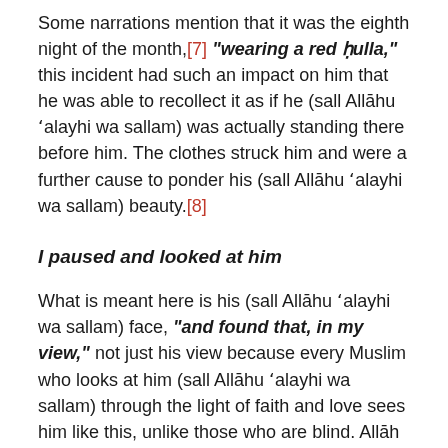Some narrations mention that it was the eighth night of the month,[7] "wearing a red ḥulla," this incident had such an impact on him that he was able to recollect it as if he (sall Allāhu 'alayhi wa sallam) was actually standing there before him. The clothes struck him and were a further cause to ponder his (sall Allāhu 'alayhi wa sallam) beauty.[8]
I paused and looked at him
What is meant here is his (sall Allāhu 'alayhi wa sallam) face, "and found that, in my view," not just his view because every Muslim who looks at him (sall Allāhu 'alayhi wa sallam) through the light of faith and love sees him like this, unlike those who are blind. Allāh informs us, "You see them looking at you but not seeing."[9] What we see depends on how we look and